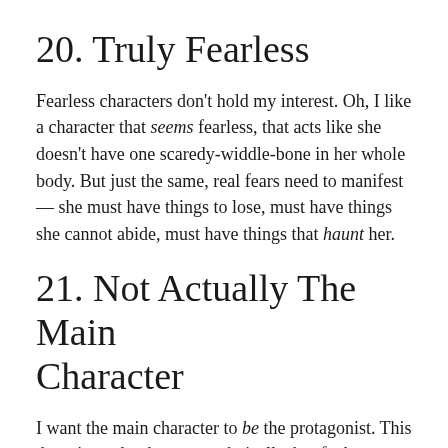20. Truly Fearless
Fearless characters don't hold my interest. Oh, I like a character that seems fearless, that acts like she doesn't have one scaredy-widdle-bone in her whole body. But just the same, real fears need to manifest — she must have things to lose, must have things she cannot abide, must have things that haunt her.
21. Not Actually The Main Character
I want the main character to be the protagonist. This doesn't need to be true, technically, but fuck